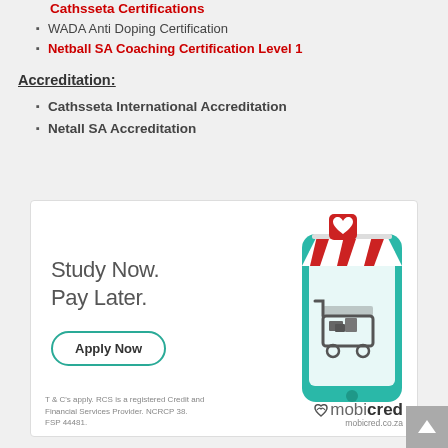Cathsseta Certifications
WADA Anti Doping Certification
Netball SA Coaching Certification Level 1
Accreditation:
Cathsseta International Accreditation
Netall SA Accreditation
[Figure (illustration): Mobicred advertisement banner with 'Study Now. Pay Later.' text, an 'Apply Now' button, a phone illustration with shopping cart and store awning, and Mobicred logo with T&C text at bottom.]